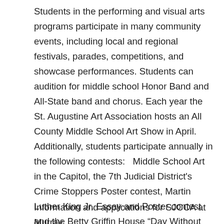Students in the performing and visual arts programs participate in many community events, including local and regional festivals, parades, competitions, and showcase performances. Students can audition for middle school Honor Band and All-State band and chorus. Each year the St. Augustine Art Association hosts an All County Middle School Art Show in April. Additionally, students participate annually in the following contests:   Middle School Art in the Capitol, the 7th Judicial District's Crime Stoppers Poster contest, Martin Luther King Jr. Essay and Poster contest and the Betty Griffin House “Day Without Violence” art and poetry contest, among others.
Information and applications for SJCCA at Murray